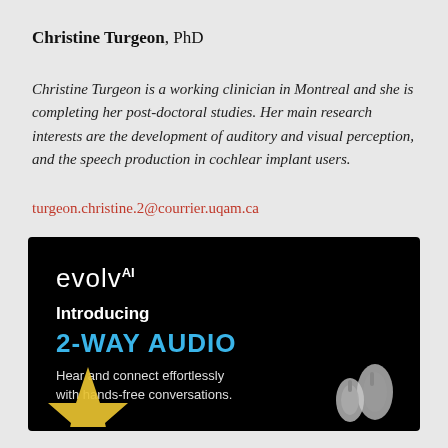Christine Turgeon, PhD
Christine Turgeon is a working clinician in Montreal and she is completing her post-doctoral studies. Her main research interests are the development of auditory and visual perception, and the speech production in cochlear implant users.
turgeon.christine.2@courrier.uqam.ca
[Figure (advertisement): Black background advertisement for evolv AI hearing aid. Shows 'evolv AI' logo in white, 'Introducing' in white bold text, '2-WAY AUDIO' in large blue bold text, 'Hear and connect effortlessly with hands-free conversations.' in light gray text. Bottom portion shows a gold star graphic on the left and hearing aid devices on the right.]